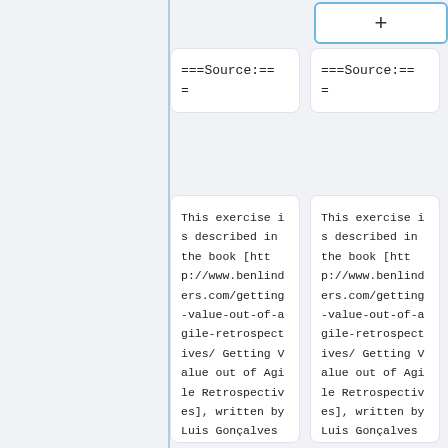+
===Source:===
===Source:===
This exercise is described in the book [http://www.benlinders.com/getting-value-out-of-agile-retrospectives/ Getting Value out of Agile Retrospectives], written by Luis Gonçalves and Ben...
This exercise is described in the book [http://www.benlinders.com/getting-value-out-of-agile-retrospectives/ Getting Value out of Agile Retrospectives], written by Luis Gonçalves and Ben...